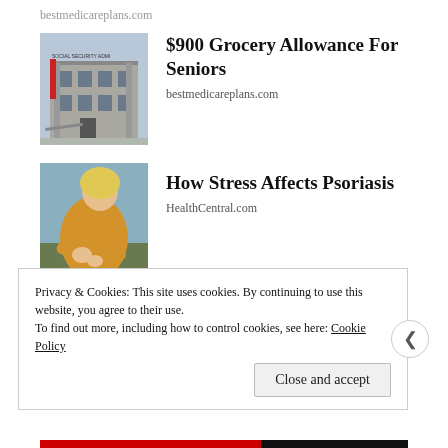bestmedicareplans.com
[Figure (photo): Photo of Social Security Administration building exterior]
$900 Grocery Allowance For Seniors
bestmedicareplans.com
[Figure (photo): Photo of a woman in a yellow sweater looking at her wrist/hand, related to psoriasis]
How Stress Affects Psoriasis
HealthCentral.com
[Figure (photo): Wide banner image with green and red/orange gradient colors]
Privacy & Cookies: This site uses cookies. By continuing to use this website, you agree to their use.
To find out more, including how to control cookies, see here: Cookie Policy
Close and accept